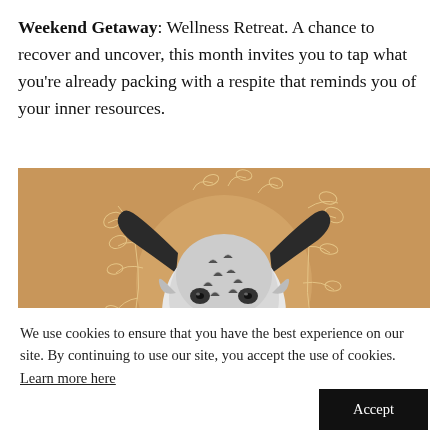Weekend Getaway: Wellness Retreat. A chance to recover and uncover, this month invites you to tap what you're already packing with a respite that reminds you of your inner resources.
[Figure (illustration): Illustration of a highland bull or longhorn cattle head in black and white, centered on a warm tan/brown background with decorative botanical line drawings of leaves and branches forming a circular frame around the animal.]
We use cookies to ensure that you have the best experience on our site. By continuing to use our site, you accept the use of cookies. Learn more here